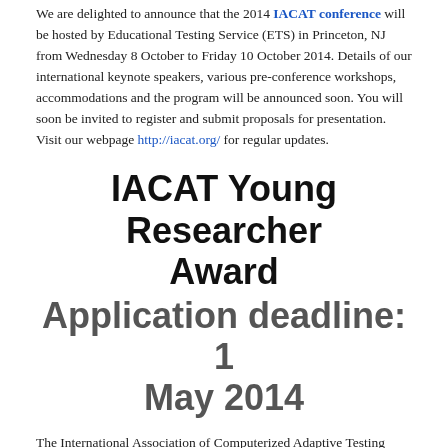We are delighted to announce that the 2014 IACAT conference will be hosted by Educational Testing Service (ETS) in Princeton, NJ from Wednesday 8 October to Friday 10 October 2014. Details of our international keynote speakers, various pre-conference workshops, accommodations and the program will be announced soon. You will soon be invited to register and submit proposals for presentation. Visit our webpage http://iacat.org/ for regular updates.
IACAT Young Researcher Award
Application deadline: 1 May 2014
The International Association of Computerized Adaptive Testing (IACAT) (http://iacat.org) young researcher award is a prestigious award intended for young scholars (under 35 years) with an interest